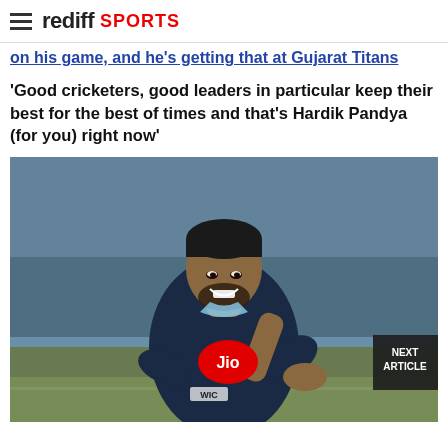rediff SPORTS
on his game, and he's getting that at Gujarat Titans
'Good cricketers, good leaders in particular keep their best for the best of times and that's Hardik Pandya (for you) right now'
[Figure (photo): Photo of Hardik Pandya smiling, wearing a dark blue Gujarat Titans jersey with a Jio logo, posing with hand near chin. Background shows a cricket stadium with empty blue seats.]
NEXT ARTICLE